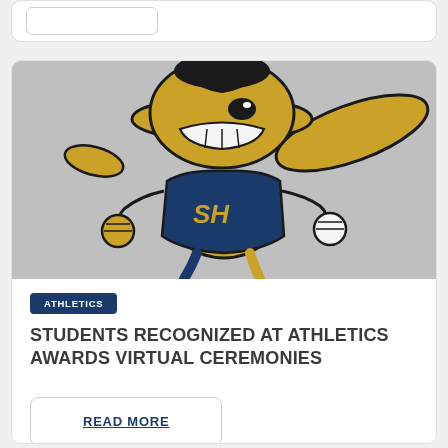[Figure (illustration): Sam Houston State University Sammy the Bearkat / hornet mascot in gold and navy blue uniform with SH letters on chest, posed in action stance on gray background]
ATHLETICS
STUDENTS RECOGNIZED AT ATHLETICS AWARDS VIRTUAL CEREMONIES
READ MORE